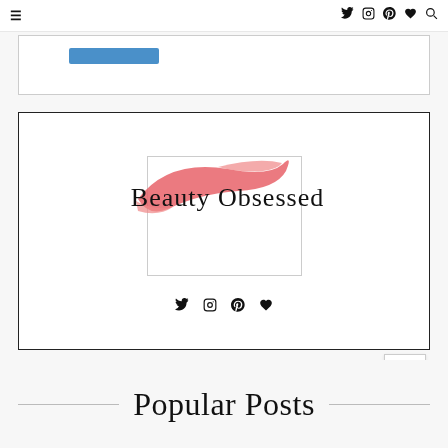Navigation bar with hamburger menu icon and social icons (Twitter, Instagram, Pinterest, heart, search)
[Figure (other): White ad box with a blue button/banner placeholder]
[Figure (logo): Beauty Obsessed blog logo: a light gray rectangle outline with a pink/coral lipstick smear brushstroke overlaid, and the script text 'Beauty Obsessed' written across it. Below: Twitter, Instagram, Pinterest, heart social icons.]
Popular Posts